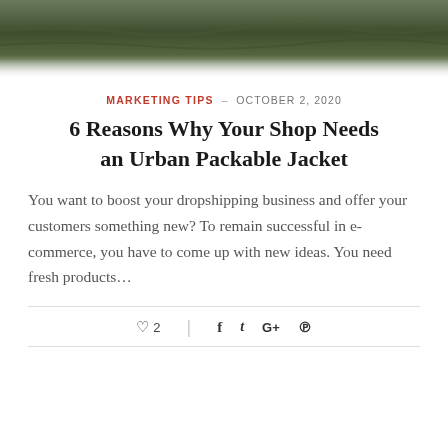[Figure (photo): Hero image showing a grassy outdoor scene, dark green tones]
MARKETING TIPS · OCTOBER 2, 2020
6 Reasons Why Your Shop Needs an Urban Packable Jacket
You want to boost your dropshipping business and offer your customers something new? To remain successful in e-commerce, you have to come up with new ideas. You need fresh products…